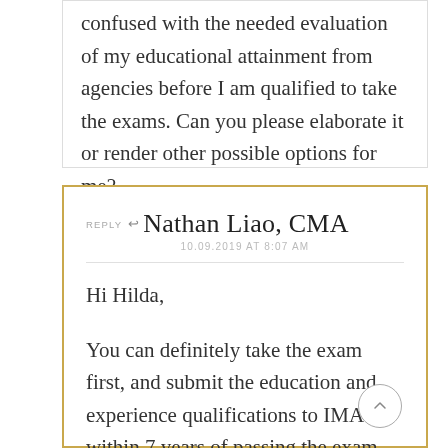confused with the needed evaluation of my educational attainment from agencies before I am qualified to take the exams. Can you please elaborate it or render other possible options for me?
REPLY Nathan Liao, CMA
10.09.2019 AT 8:07 AM

Hi Hilda,

You can definitely take the exam first, and submit the education and experience qualifications to IMA within 7 years of passing the exam.